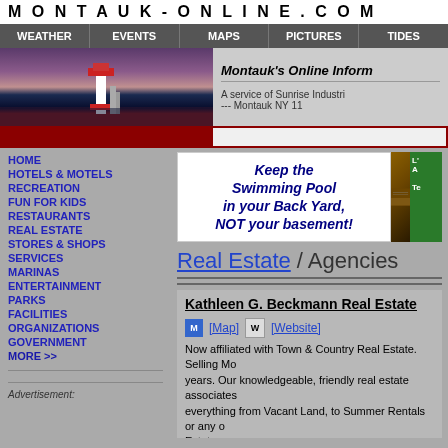MONTAUK-ONLINE.COM
WEATHER   EVENTS   MAPS   PICTURES   TIDES
[Figure (photo): Lighthouse at dusk with purple/pink sky and dark water]
Montauk's Online Inform... A service of Sunrise Industri... --- Montauk NY 11...
HOME
HOTELS & MOTELS
RECREATION
FUN FOR KIDS
RESTAURANTS
REAL ESTATE
STORES & SHOPS
SERVICES
MARINAS
ENTERTAINMENT
PARKS
FACILITIES
ORGANIZATIONS
GOVERNMENT
MORE >>
Advertisement:
[Figure (photo): Advertisement: Keep the Swimming Pool in your Back Yard, NOT your basement! with flooded basement photo]
Real Estate / Agencies
Kathleen G. Beckmann Real Estate
[Map] [Website] Now affiliated with Town & Country Real Estate. Selling Mo... years. Our knowledgeable, friendly real estate associates... everything from Vacant Land, to Summer Rentals or any o... Estate.
Location: 764 Main Street - Montauk, NY